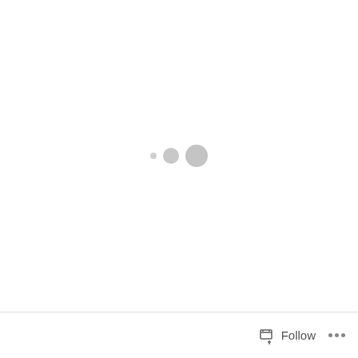[Figure (other): Loading indicator with three circles of increasing size (small dot, medium circle, large circle) centered on a white background, suggesting a loading/waiting state.]
Follow ···